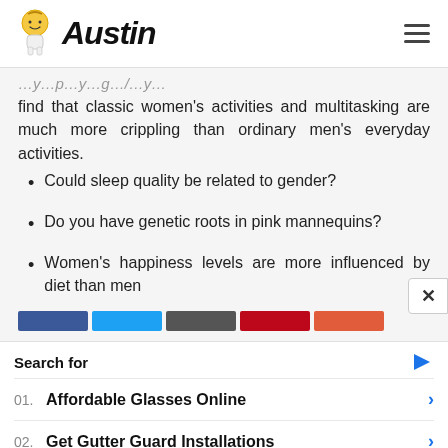Austin
find that classic women's activities and multitasking are much more crippling than ordinary men's everyday activities.
Could sleep quality be related to gender?
Do you have genetic roots in pink mannequins?
Women's happiness levels are more influenced by diet than men
Search for
01. Affordable Glasses Online
02. Get Gutter Guard Installations
Yahoo! Search | Sponsored